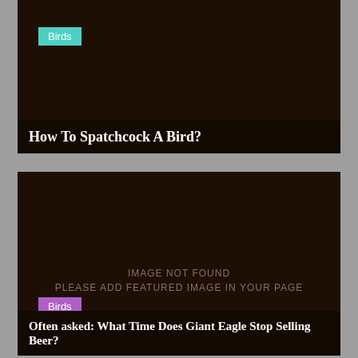[Figure (photo): Dark brown card with a teal 'Birds' badge tag and a black title bar at the bottom]
How To Spatchcock A Bird?
[Figure (photo): Dark brown card showing IMAGE NOT FOUND / PLEASE ADD FEATURED IMAGE IN YOUR PAGE placeholder text, with a purple 'Birds' badge]
Often asked: What Time Does Giant Eagle Stop Selling Beer?